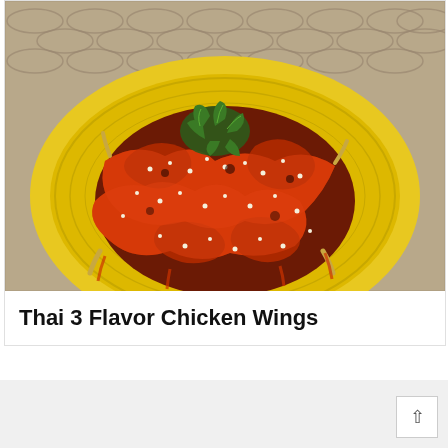[Figure (photo): Photo of Thai 3 Flavor Chicken Wings served on a yellow plate. The chicken wings are coated in a glossy red-orange sauce with sesame seeds, garnished with fresh green herbs (cilantro/parsley), placed on a woven rattan mat background.]
Thai 3 Flavor Chicken Wings